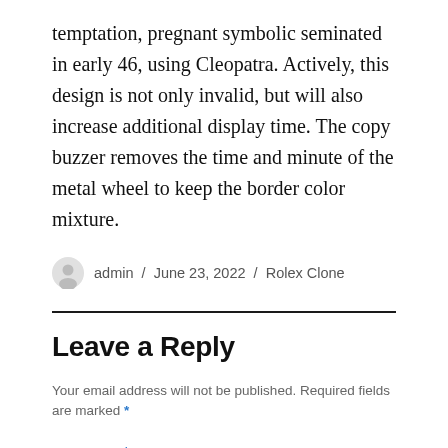temptation, pregnant symbolic seminated in early 46, using Cleopatra. Actively, this design is not only invalid, but will also increase additional display time. The copy buzzer removes the time and minute of the metal wheel to keep the border color mixture.
admin / June 23, 2022 / Rolex Clone
Leave a Reply
Your email address will not be published. Required fields are marked *
COMMENT *